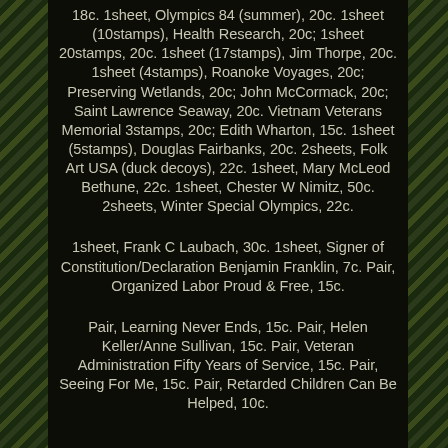18c. 1sheet, Olympics 84 (summer), 20c. 1sheet (10stamps), Health Research, 20c; 1sheet 20stamps, 20c. 1sheet (17stamps), Jim Thorpe, 20c. 1sheet (4stamps), Roanoke Voyages, 20c; Preserving Wetlands, 20c; John McCormack, 20c; Saint Lawrence Seaway, 20c. Vietnam Veterans Memorial 3stamps, 20c; Edith Wharton, 15c. 1sheet (5stamps), Douglas Fairbanks, 20c. 2sheets, Folk Art USA (duck decoys), 22c. 1sheet, Mary McLeod Bethune, 22c. 1sheet, Chester W Nimitz, 50c. 2sheets, Winter Special Olympics, 22c.
1sheet, Frank C Laubach, 30c. 1sheet, Signer of Constitution/Declaration Benjamin Franklin, 7c. Pair, Organized Labor Proud & Free, 15c.
Pair, Learning Never Ends, 15c. Pair, Helen Keller/Anne Sullivan, 15c. Pair, Veteran Administration Fifty Years of Service, 15c. Pair, Seeing For Me, 15c. Pair, Retarded Children Can Be Helped, 10c.